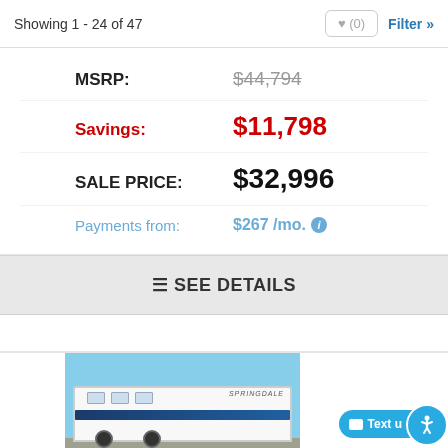Showing 1 - 24 of 47
| Label | Value |
| --- | --- |
| MSRP: | $44,794 |
| Savings: | $11,798 |
| SALE PRICE: | $32,996 |
| Payments from: | $267 /mo. |
SEE DETAILS
[Figure (photo): Photo of a Springdale travel trailer RV parked outdoors under a blue sky]